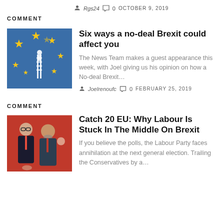Rgs24  0  OCTOBER 9, 2019
COMMENT
Six ways a no-deal Brexit could affect you
The News Team makes a guest appearance this week, with Joel giving us his opinion on how a No-deal Brexit…
Joelrenoufc  0  FEBRUARY 25, 2019
COMMENT
Catch 20 EU: Why Labour Is Stuck In The Middle On Brexit
If you believe the polls, the Labour Party faces annihilation at the next general election. Trailing the Conservatives by a…